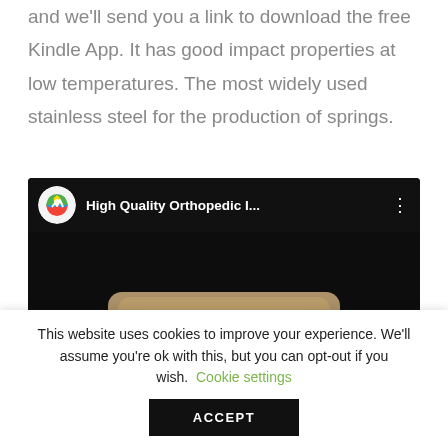and we'll send you a link to download the free Kindle App. It has good impact properties at low temperatures. The most widely used stainless steel for the production of springs.
[Figure (screenshot): YouTube video thumbnail showing 'High Quality Orthopedic I...' with a channel icon featuring a colorful health/medical logo, three-dot menu, and a dark background with an orthopedic implant image below.]
This website uses cookies to improve your experience. We'll assume you're ok with this, but you can opt-out if you wish. Cookie settings ACCEPT